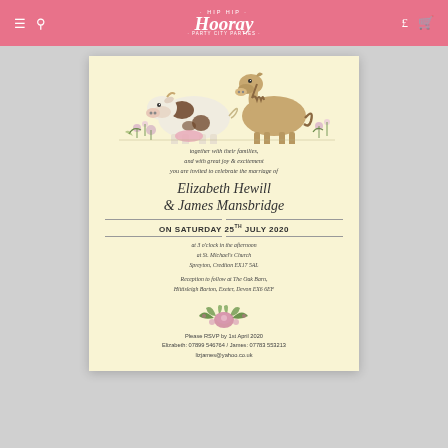Hip Hip Hooray - Party City Parties website header
[Figure (illustration): Wedding invitation card with illustrated cow and horse at top, floral decorations, and script text on cream/ivory background.]
together with their families, and with great joy & excitement you are invited to celebrate the marriage of
Elizabeth Hewill & James Mansbridge
ON SATURDAY 25th JULY 2020
at 3 o'clock in the afternoon at St. Michael's Church Spreyton, Crediton EX17 5AL
Reception to follow at The Oak Barn, Hittisleigh Barton, Exeter, Devon EX6 6EF
Please RSVP by 1st April 2020 Elizabeth: 07899 546764 / James: 07783 553213 lizjames@yahoo.co.uk